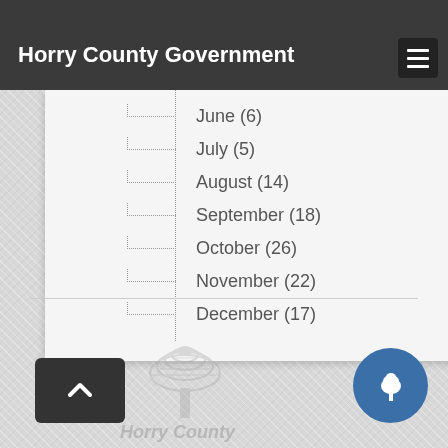Horry County Government
April (11)
May (9)
June (6)
July (5)
August (14)
September (18)
October (26)
November (22)
December (17)
[Figure (logo): Horry County logo with stylized tree and county name text]
[Figure (illustration): Blue circle button with white tree/park icon]